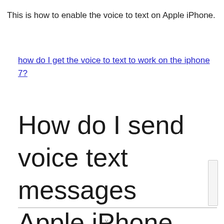This is how to enable the voice to text on Apple iPhone.
how do I get the voice to text to work on the iphone 7?
How do I send voice text messages Apple iPhone